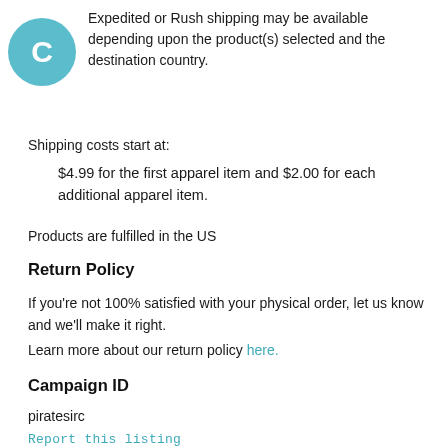[Figure (other): Teal circular avatar with letter C]
Expedited or Rush shipping may be available depending upon the product(s) selected and the destination country.
Shipping costs start at:
$4.99 for the first apparel item and $2.00 for each additional apparel item.
Products are fulfilled in the US
Return Policy
If you're not 100% satisfied with your physical order, let us know and we'll make it right.
Learn more about our return policy here.
Campaign ID
piratesirc
Report this listing